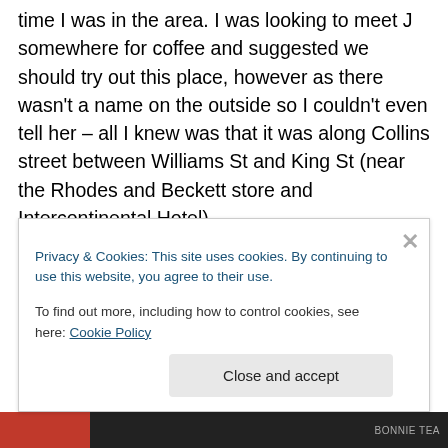time I was in the area. I was looking to meet J somewhere for coffee and suggested we should try out this place, however as there wasn't a name on the outside so I couldn't even tell her – all I knew was that it was along Collins street between Williams St and King St (near the Rhodes and Beckett store and Intercontinental Hotel).
J and I managed to find the place and it was once you step inside that you learn the name of this cool café – Bonnie – also known as Bonnie Coffee Brewers. There is no kitchen or menu here, but there are some sweet treats
Privacy & Cookies: This site uses cookies. By continuing to use this website, you agree to their use.
To find out more, including how to control cookies, see here: Cookie Policy
Close and accept